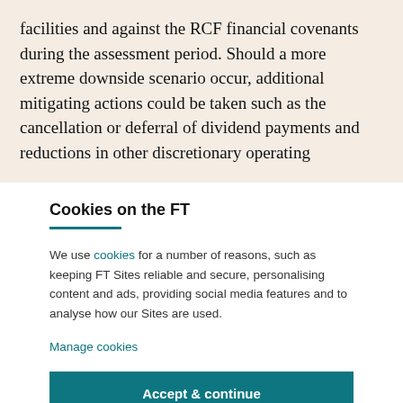facilities and against the RCF financial covenants during the assessment period. Should a more extreme downside scenario occur, additional mitigating actions could be taken such as the cancellation or deferral of dividend payments and reductions in other discretionary operating
Cookies on the FT
We use cookies for a number of reasons, such as keeping FT Sites reliable and secure, personalising content and ads, providing social media features and to analyse how our Sites are used.
Manage cookies
Accept & continue